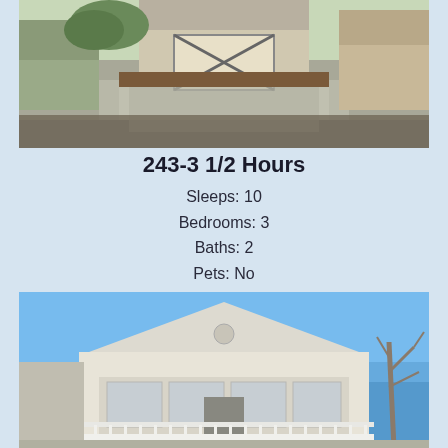[Figure (photo): Exterior photo of beach house showing gravel driveway leading up to a house with a garage door featuring an X-pattern, surrounded by other beach houses]
243-3 1/2 Hours
Sleeps: 10
Bedrooms: 3
Baths: 2
Pets: No
[Figure (photo): Exterior photo of a beach house with white siding, screened porch, white deck railing, a circular medallion on the gable, and a bare tree on the right side, blue sky background]